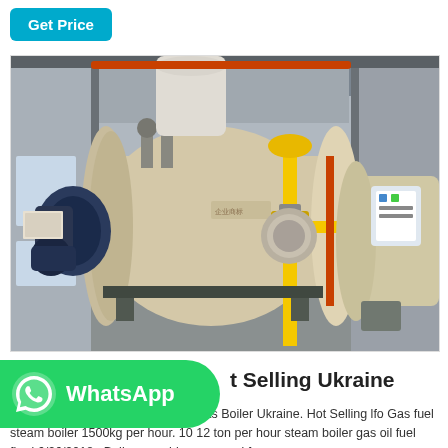Get Price
[Figure (photo): Industrial gas/oil fired steam boilers in a factory/boiler room setting. Two large horizontal cylindrical boilers are visible, cream/beige colored, with blue burner assemblies attached on the left. Yellow gas supply pipes with valves are visible in the center-right. A control panel is visible on the right boiler. The room has concrete floors and industrial ceiling structure.]
WhatsApp
t Selling Ukraine
May 23, 2019 · Energy Saving 6t Gas Boiler Ukraine. Hot Selling lfo Gas fuel steam boiler 1500kg per hour. 10 12 ton per hour steam boiler gas oil fuel fired 6/26/2018 · Boilers on ships are used for